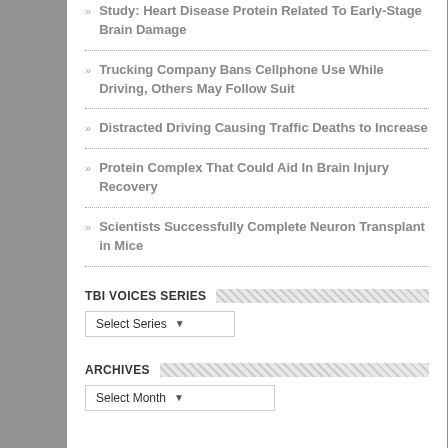Study: Heart Disease Protein Related To Early-Stage Brain Damage
Trucking Company Bans Cellphone Use While Driving, Others May Follow Suit
Distracted Driving Causing Traffic Deaths to Increase
Protein Complex That Could Aid In Brain Injury Recovery
Scientists Successfully Complete Neuron Transplant in Mice
TBI VOICES SERIES
Select Series
ARCHIVES
Select Month